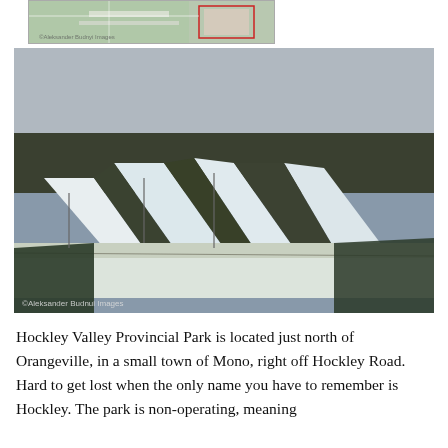[Figure (map): Partial map image showing park area with red outlined region, green areas, and watermark text.]
[Figure (photo): Winter landscape photo of a ski hill with snow-covered runs cut through forested slopes. Overcast sky. Watermark reads '©Aleksander Budnyi Images'.]
Hockley Valley Provincial Park is located just north of Orangeville, in a small town of Mono, right off Hockley Road. Hard to get lost when the only name you have to remember is Hockley. The park is non-operating, meaning